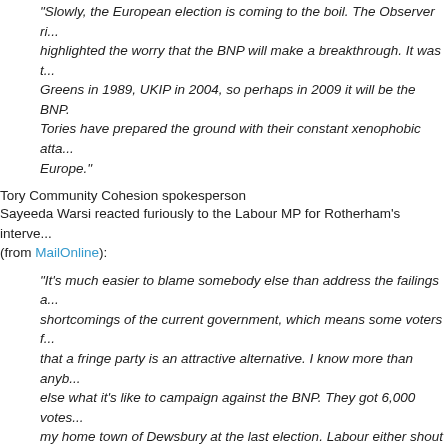"Slowly, the European election is coming to the boil. The Observer highlighted the worry that the BNP will make a breakthrough. It was Greens in 1989, UKIP in 2004, so perhaps in 2009 it will be the BNP. Tories have prepared the ground with their constant xenophobic attacks on Europe."
Tory Community Cohesion spokesperson
Sayeeda Warsi reacted furiously to the Labour MP for Rotherham's intervention (from MailOnline):
"It's much easier to blame somebody else than address the failings and shortcomings of the current government, which means some voters feel that a fringe party is an attractive alternative. I know more than anybody else what it's like to campaign against the BNP. They got 6,000 votes in my home town of Dewsbury at the last election. Labour either shout and scream that everybody who votes BNP is a racist or alternatively they try to blame us for raising legitimate issues to which they have no answer. It used to be immigration, now it's Europe. Most people who vote for the BNP aren't racist. I accept that they feel so frustrated by the sort of politics they see today that they feel the only way to be heard is to vote for a fringe party. They would never want to have them in power. It's their way of giving the other parties a kick up the backside."
There are signs that Labour may be using the BNP to hide their own problems (see John Rentoul today).  Something to watch.